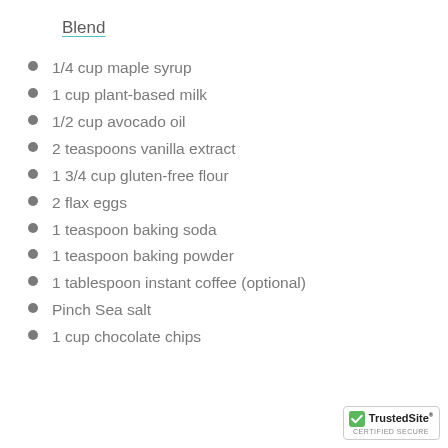Blend
1/4 cup maple syrup
1 cup plant-based milk
1/2 cup avocado oil
2 teaspoons vanilla extract
1 3/4 cup gluten-free flour
2 flax eggs
1 teaspoon baking soda
1 teaspoon baking powder
1 tablespoon instant coffee (optional)
Pinch Sea salt
1 cup chocolate chips
[Figure (logo): TrustedSite CERTIFIED SECURE badge]